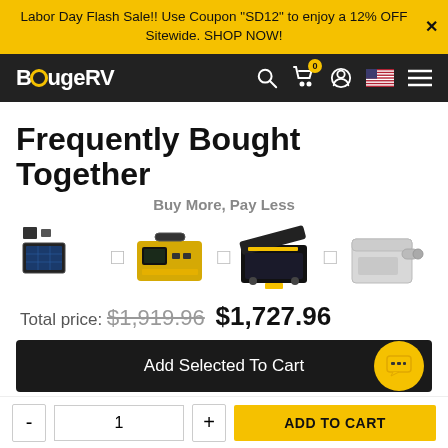Labor Day Flash Sale!! Use Coupon "SD12" to enjoy a 12% OFF Sitewide. SHOP NOW!
[Figure (screenshot): BougeRV navigation bar with logo, search, cart, user, flag, and menu icons]
Frequently Bought Together
Buy More, Pay Less
[Figure (infographic): Four product images: solar panel, portable power station (yellow), electric cooler box (black/yellow), white container — separated by plus signs]
Total price: $1,919.96  $1,727.96
Add Selected To Cart
ADD TO CART